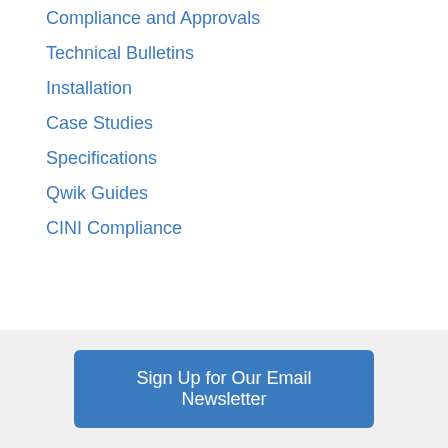Compliance and Approvals
Technical Bulletins
Installation
Case Studies
Specifications
Qwik Guides
CINI Compliance
Sign Up for Our Email Newsletter